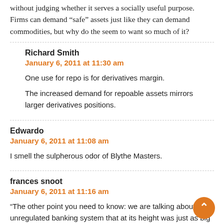without judging whether it serves a socially useful purpose. Firms can demand “safe” assets just like they can demand commodities, but why do the seem to want so much of it?
Richard Smith
January 6, 2011 at 11:30 am
One use for repo is for derivatives margin.
The increased demand for repoable assets mirrors larger derivatives positions.
Edwardo
January 6, 2011 at 11:08 am
I smell the sulpherous odor of Blythe Masters.
frances snoot
January 6, 2011 at 11:16 am
“The other point you need to know: we are talking about an unregulated banking system that at its height was just as big as the regulated banking system, yet coupled to it, and